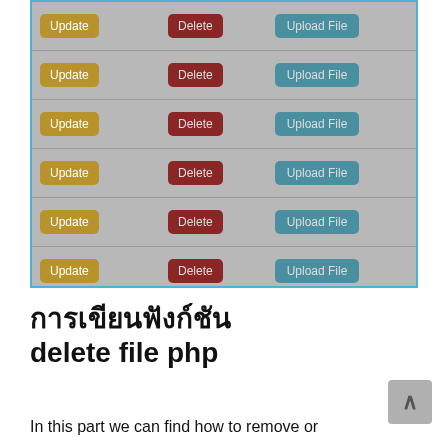[Figure (screenshot): A web interface table showing 7 rows, each containing three action buttons: an olive/gold 'Update' button, a dark red 'Delete' button, and a teal 'Upload File' button, on a gray background with a blue bottom border.]
การเขียนฟังก์ชัน delete file php
In this part we can find how to remove or